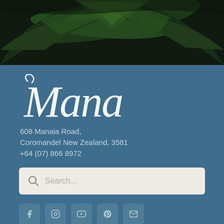[Figure (photo): Dark green tropical palm fronds photographed close up from below, filling the top strip of the page]
Mana
608 Manaia Road,
Coromandel New Zealand, 3581
+64 (07) 866 8972
Search...
[Figure (infographic): Row of five social media icon buttons: Facebook, Instagram, YouTube, Pinterest, Email]